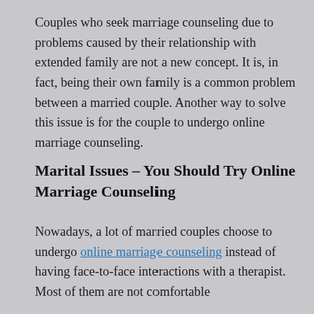Couples who seek marriage counseling due to problems caused by their relationship with extended family are not a new concept. It is, in fact, being their own family is a common problem between a married couple. Another way to solve this issue is for the couple to undergo online marriage counseling.
Marital Issues – You Should Try Online Marriage Counseling
Nowadays, a lot of married couples choose to undergo online marriage counseling instead of having face-to-face interactions with a therapist. Most of them are not comfortable